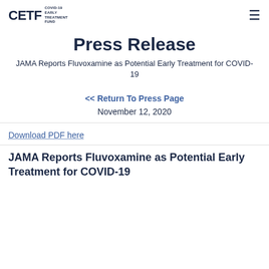CETF COVID-19 EARLY TREATMENT FUND
Press Release
JAMA Reports Fluvoxamine as Potential Early Treatment for COVID-19
<< Return To Press Page
November 12, 2020
Download PDF here
JAMA Reports Fluvoxamine as Potential Early Treatment for COVID-19